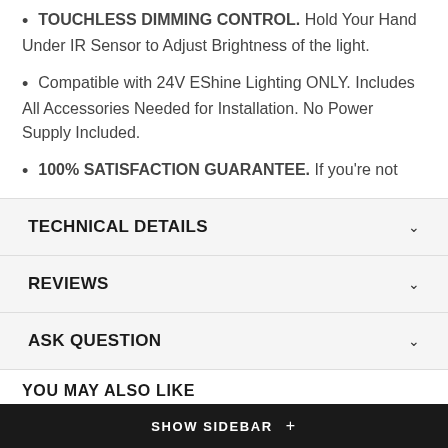TOUCHLESS DIMMING CONTROL. Hold Your Hand Under IR Sensor to Adjust Brightness of the light.
Compatible with 24V EShine Lighting ONLY. Includes All Accessories Needed for Installation. No Power Supply Included.
100% SATISFACTION GUARANTEE. If you're not
TECHNICAL DETAILS
REVIEWS
ASK QUESTION
YOU MAY ALSO LIKE
SHOW SIDEBAR +